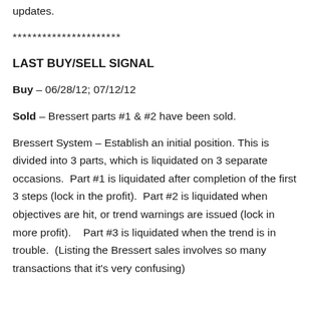updates.
**********************
LAST BUY/SELL SIGNAL
Buy – 06/28/12; 07/12/12
Sold – Bressert parts #1 & #2 have been sold.
Bressert System – Establish an initial position. This is divided into 3 parts, which is liquidated on 3 separate occasions.  Part #1 is liquidated after completion of the first 3 steps (lock in the profit).  Part #2 is liquidated when objectives are hit, or trend warnings are issued (lock in more profit).   Part #3 is liquidated when the trend is in trouble.  (Listing the Bressert sales involves so many transactions that it's very confusing)